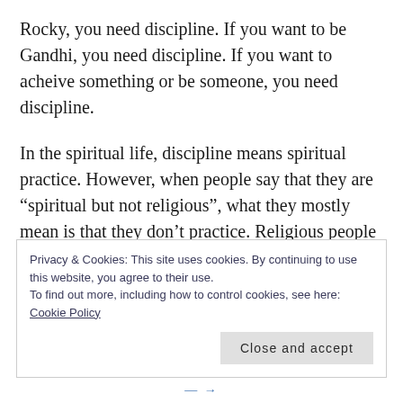Rocky, you need discipline. If you want to be Gandhi, you need discipline. If you want to acheive something or be someone, you need discipline.
In the spiritual life, discipline means spiritual practice. However, when people say that they are “spiritual but not religious”, what they mostly mean is that they don’t practice. Religious people go to church and pray and what-not: their religion imposes a formal rule of discipline on them, just like school imposes homework. But if you are “spiritual but not religious”
Privacy & Cookies: This site uses cookies. By continuing to use this website, you agree to their use.
To find out more, including how to control cookies, see here: Cookie Policy
Close and accept